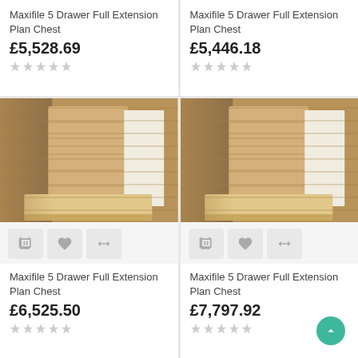Maxifile 5 Drawer Full Extension Plan Chest
£5,528.69
Maxifile 5 Drawer Full Extension Plan Chest
£5,446.18
[Figure (photo): Maxifile 5 Drawer Full Extension Plan Chest - wooden plan chest with open drawer]
[Figure (photo): Maxifile 5 Drawer Full Extension Plan Chest - wooden plan chest with open drawer]
Maxifile 5 Drawer Full Extension Plan Chest
£6,525.50
Maxifile 5 Drawer Full Extension Plan Chest
£7,797.92